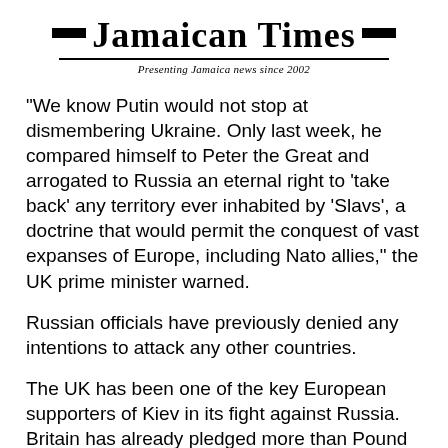Jamaican Times — Presenting Jamaica news since 2002
"We know Putin would not stop at dismembering Ukraine. Only last week, he compared himself to Peter the Great and arrogated to Russia an eternal right to 'take back' any territory ever inhabited by 'Slavs', a doctrine that would permit the conquest of vast expanses of Europe, including Nato allies," the UK prime minister warned.
Russian officials have previously denied any intentions to attack any other countries.
The UK has been one of the key European supporters of Kiev in its fight against Russia. Britain has already pledged more than Pound 1.3 billion ($1.6 billion) in economic and humanitarian support to Ukraine and is providing Kiev with, among other